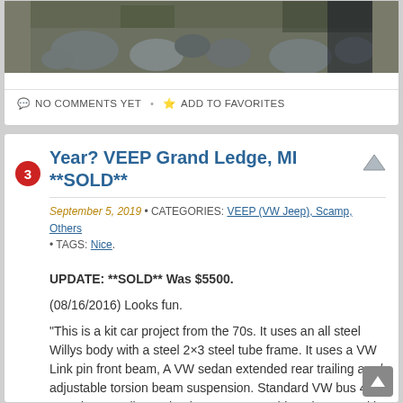[Figure (photo): Partial photo of rocks and vegetation on ground, cut off at top]
NO COMMENTS YET • ADD TO FAVORITES
Year? VEEP Grand Ledge, MI **SOLD**
September 5, 2019 • CATEGORIES: VEEP (VW Jeep), Scamp, Others • TAGS: Nice.
UPDATE: **SOLD** Was $5500.
(08/16/2016) Looks fun.
“This is a kit car project from the 70s. It uses an all steel Willys body with a steel 2×3 steel tube frame. It uses a VW Link pin front beam, A VW sedan extended rear trailing arm/ adjustable torsion beam suspension. Standard VW bus 4 speed trans. All gas shocks. Two removable poly seats with covers. Standard 5